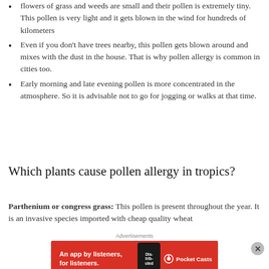flowers of grass and weeds are small and their pollen is extremely tiny. This pollen is very light and it gets blown in the wind for hundreds of kilometers
Even if you don't have trees nearby, this pollen gets blown around and mixes with the dust in the house. That is why pollen allergy is common in cities too.
Early morning and late evening pollen is more concentrated in the atmosphere. So it is advisable not to go for jogging or walks at that time.
Which plants cause pollen allergy in tropics?
Parthenium or congress grass: This pollen is present throughout the year. It is an invasive species imported with cheap quality wheat
Advertisements
[Figure (other): Red advertisement banner for Pocket Casts app reading 'An app by listeners, for listeners.' with phone graphic and Pocket Casts logo]